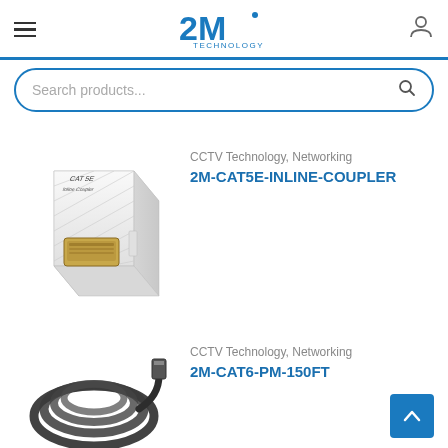2M Technology
Search products...
CCTV Technology, Networking
2M-CAT5E-INLINE-COUPLER
[Figure (photo): White CAT5E inline coupler with RJ45 port]
CCTV Technology, Networking
2M-CAT6-PM-150FT
[Figure (photo): Black CAT6 patch cable coiled]